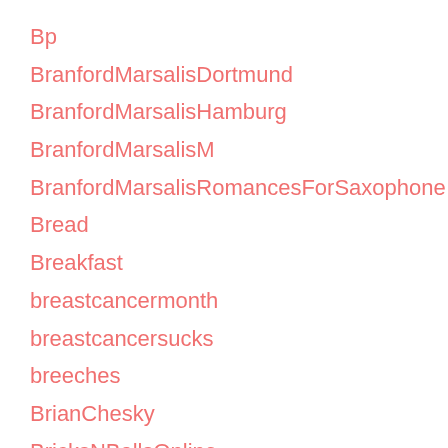Bp
BranfordMarsalisDortmund
BranfordMarsalisHamburg
BranfordMarsalisM
BranfordMarsalisRomancesForSaxophone
Bread
Breakfast
breastcancermonth
breastcancersucks
breeches
BrianChesky
BricksNBallsOnline
BrookeCandy
BrownWatches